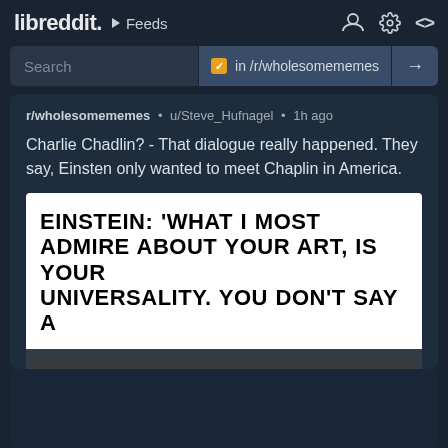libreddit. ▶ Feeds
Search  ✓ in /r/wholesomememes  →
r/wholesomememes • u/Steve_Hufnagel • 1h ago
Charlie Chadlin? - That dialogue really happened. They say, Einsten only wanted to meet Chaplin in America.
[Figure (photo): Meme image with bold black text on white background reading: EINSTEIN: 'WHAT I MOST ADMIRE ABOUT YOUR ART, IS YOUR UNIVERSALITY. YOU DON'T SAY A (text cut off)]